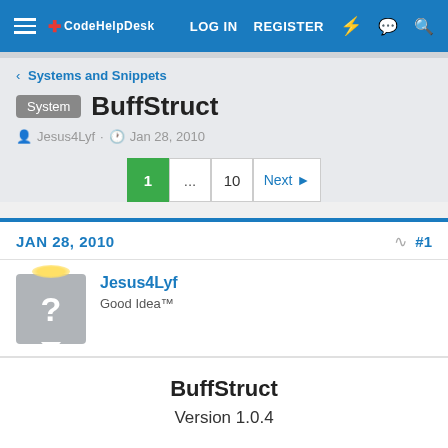LOG IN  REGISTER
< Systems and Snippets
System  BuffStruct
Jesus4Lyf · Jan 28, 2010
1 ... 10 Next
JAN 28, 2010  #1
Jesus4Lyf
Good Idea™
BuffStruct
Version 1.0.4
Requirements: